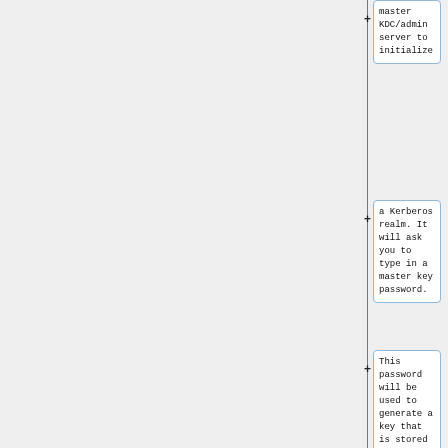master KDC/admin server to initialize
a Kerberos realm.  It will ask you to type in a master key password.
This password will be used to generate a key that is stored in
/etc/krb5kdc/stash.  You should try to remember